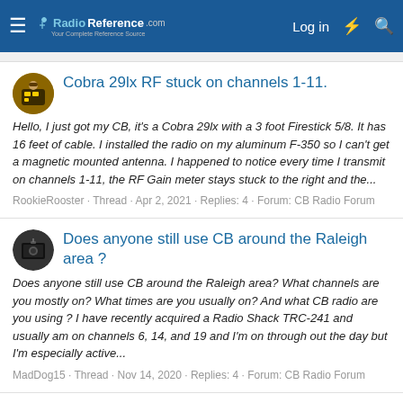RadioReference.com — Log in
Cobra 29lx RF stuck on channels 1-11.
Hello, I just got my CB, it's a Cobra 29lx with a 3 foot Firestick 5/8. It has 16 feet of cable. I installed the radio on my aluminum F-350 so I can't get a magnetic mounted antenna. I happened to notice every time I transmit on channels 1-11, the RF Gain meter stays stuck to the right and the...
RookieRooster · Thread · Apr 2, 2021 · Replies: 4 · Forum: CB Radio Forum
Does anyone still use CB around the Raleigh area?
Does anyone still use CB around the Raleigh area? What channels are you mostly on? What times are you usually on? And what CB radio are you using ? I have recently acquired a Radio Shack TRC-241 and usually am on channels 6, 14, and 19 and I'm on through out the day but I'm especially active...
MadDog15 · Thread · Nov 14, 2020 · Replies: 4 · Forum: CB Radio Forum